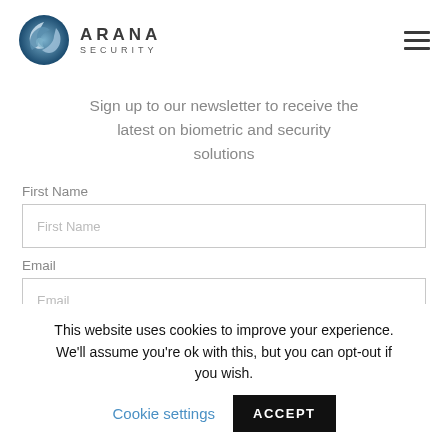[Figure (logo): Arana Security logo with blue globe icon and company name]
Sign up to our newsletter to receive the latest on biometric and security solutions
First Name
First Name (input placeholder)
Email
Email (input placeholder)
This website uses cookies to improve your experience. We'll assume you're ok with this, but you can opt-out if you wish.
Cookie settings
ACCEPT